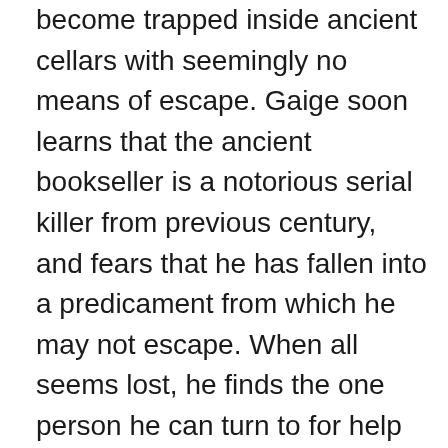become trapped inside ancient cellars with seemingly no means of escape. Gaige soon learns that the ancient bookseller is a notorious serial killer from previous century, and fears that he has fallen into a predicament from which he may not escape. When all seems lost, he finds the one person he can turn to for help—Mael, a sweet teen also trapped inside the book who didn't fall for the bookseller's tricks. Together, they race against time to protect Gaige from joining a long string of boys who vanished without a trace inside the Book of Dreams.